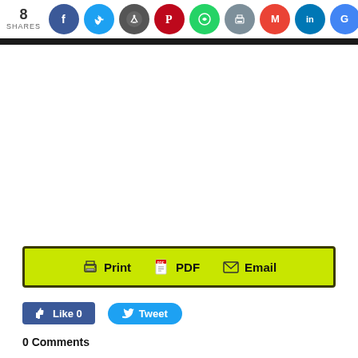[Figure (screenshot): Social share bar with 8 SHARES count and icons for Facebook, Twitter, RSS/share, Pinterest, WhatsApp, Print, Gmail, LinkedIn, Google]
[Figure (screenshot): Yellow-green action bar with Print, PDF, Email buttons]
[Figure (screenshot): Facebook Like 0 button and Tweet button]
0 Comments